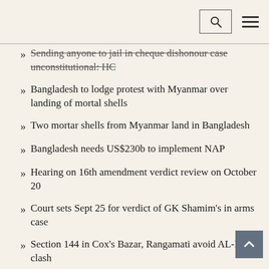Search and menu navigation bar
Sending anyone to jail in cheque dishonour case unconstitutional: HC
Bangladesh to lodge protest with Myanmar over landing of mortal shells
Two mortar shells from Myanmar land in Bangladesh
Bangladesh needs US$230b to implement NAP
Hearing on 16th amendment verdict review on October 20
Court sets Sept 25 for verdict of GK Shamim's in arms case
Section 144 in Cox's Bazar, Rangamati avoid AL-BNP clash